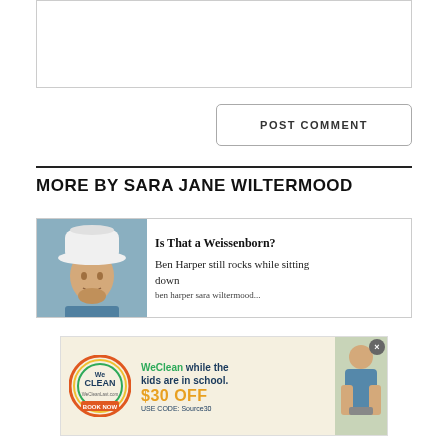[Figure (other): Comment text area input box (empty)]
[Figure (other): POST COMMENT button]
MORE BY SARA JANE WILTERMOOD
[Figure (other): Article card: 'Is That a Weissenborn?' with photo of man wearing white hat. Text: Ben Harper still rocks while sitting down]
[Figure (other): WeClean advertisement banner: 'WeClean while the kids are in school. $30 OFF USE CODE: Source30. BOOK NOW']